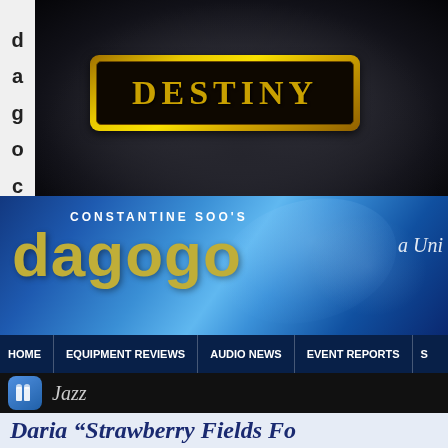[Figure (photo): Close-up photo of a black speaker or audio component with a gold badge reading DESTINY in bold serif letters on a dark background]
[Figure (logo): Constantine Soo's Dagogo website banner logo on a blue gradient background with the text 'a Uni...' partially visible on the right]
HOME  EQUIPMENT REVIEWS  AUDIO NEWS  EVENT REPORTS  S
Jazz
Daria "Strawberry Fields Fo